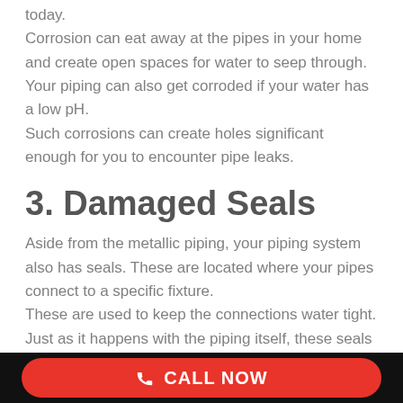today. Corrosion can eat away at the pipes in your home and create open spaces for water to seep through. Your piping can also get corroded if your water has a low pH. Such corrosions can create holes significant enough for you to encounter pipe leaks.
3. Damaged Seals
Aside from the metallic piping, your piping system also has seals. These are located where your pipes connect to a specific fixture. These are used to keep the connections water tight. Just as it happens with the piping itself, these seals can degrade over time as well. When seals break apart or
CALL NOW